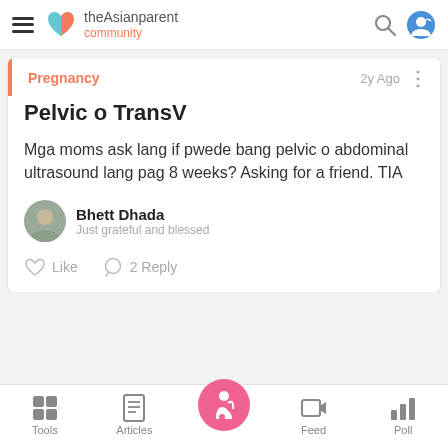theAsianparent community
Pregnancy · 2y Ago
Pelvic o TransV
Mga moms ask lang if pwede bang pelvic o abdominal ultrasound lang pag 8 weeks? Asking for a friend. TIA
Bhett Dhada
Just grateful and blessed
Like  2 Reply
Tools  Articles  Feed  Poll